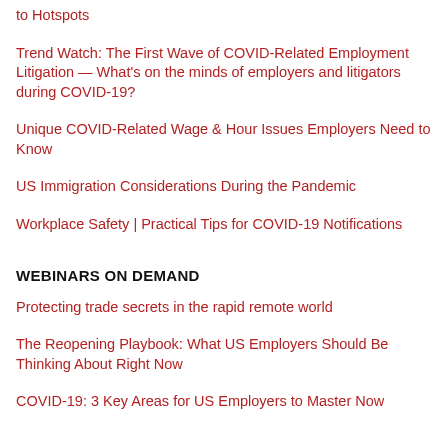to Hotspots
Trend Watch: The First Wave of COVID-Related Employment Litigation — What's on the minds of employers and litigators during COVID-19?
Unique COVID-Related Wage & Hour Issues Employers Need to Know
US Immigration Considerations During the Pandemic
Workplace Safety | Practical Tips for COVID-19 Notifications
WEBINARS ON DEMAND
Protecting trade secrets in the rapid remote world
The Reopening Playbook: What US Employers Should Be Thinking About Right Now
COVID-19: 3 Key Areas for US Employers to Master Now